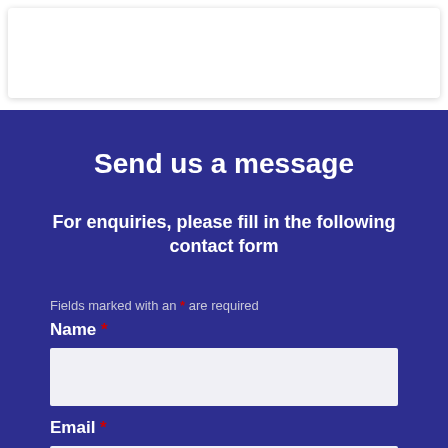Send us a message
For enquiries, please fill in the following contact form
Fields marked with an * are required
Name *
Email *